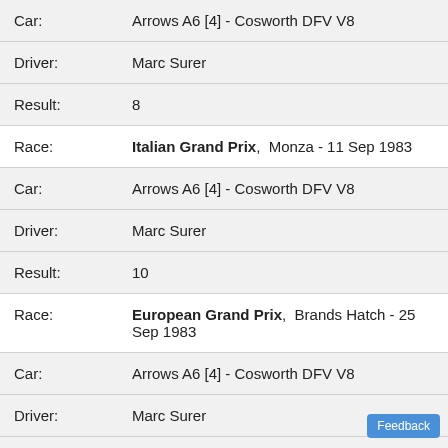Car: Arrows A6 [4] - Cosworth DFV V8
Driver: Marc Surer
Result: 8
Race: Italian Grand Prix, Monza - 11 Sep 1983
Car: Arrows A6 [4] - Cosworth DFV V8
Driver: Marc Surer
Result: 10
Race: European Grand Prix, Brands Hatch - 25 Sep 1983
Car: Arrows A6 [4] - Cosworth DFV V8
Driver: Marc Surer
Result: Retired
Race: South African Grand Prix, Kyalami